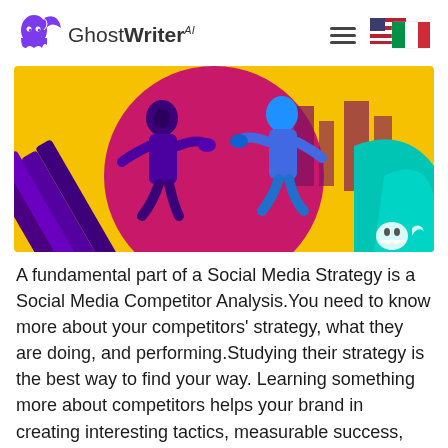GhostWriter AI
[Figure (illustration): Two illustrated figures in a dynamic competition/boxing pose against a colorful background of yellow, red/magenta circle, and teal shapes — representing social media competition]
A fundamental part of a Social Media Strategy is a Social Media Competitor Analysis.You need to know more about your competitors' strategy, what they are doing, and performing.Studying their strategy is the best way to find your way. Learning something more about competitors helps your brand in creating interesting tactics, measurable success, and, sometimes, avoid [...]